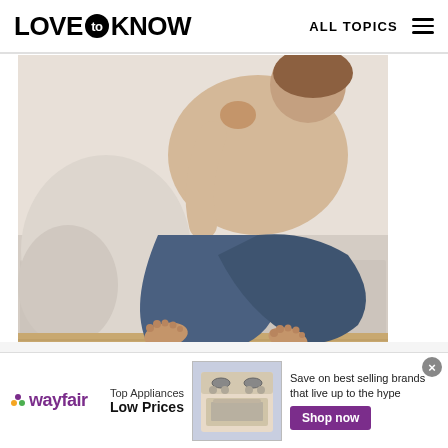LOVE to KNOW   ALL TOPICS
[Figure (photo): Person sitting cross-legged on a light gray sofa, wearing blue jeans and a cream/beige cardigan, barefoot, on a light wood floor]
LoveToKnow x PAKT
[Figure (infographic): Wayfair advertisement banner: Top Appliances Low Prices, image of stove/oven, Save on best selling brands that live up to the hype, Shop now button]